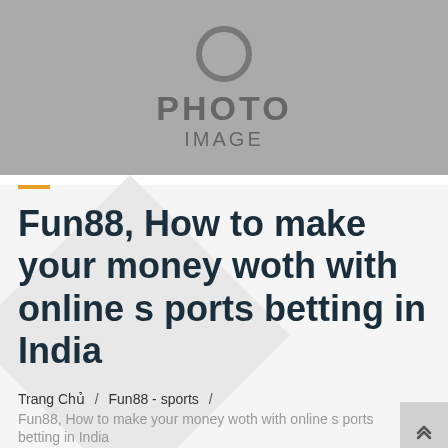[Figure (photo): Gray placeholder image with a circle icon, the word PHOTO in large text, and IMAGE below it]
Fun88, How to make your money woth with online sports betting in India
Trang Chủ / Fun88 - sports / Fun88, How to make your money woth with online s ports betting in India